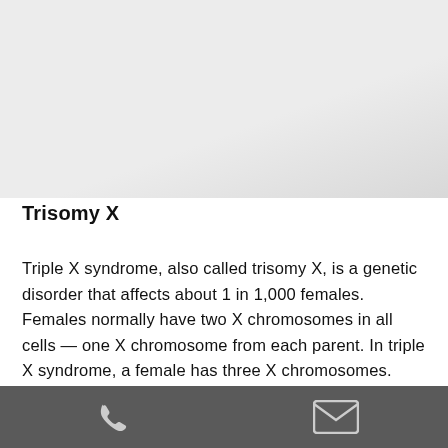[Figure (photo): Medical or scientific image showing karyotype or chromosome illustration for Trisomy X, rendered in light gray tones]
Trisomy X
Triple X syndrome, also called trisomy X, is a genetic disorder that affects about 1 in 1,000 females. Females normally have two X chromosomes in all cells — one X chromosome from each parent. In triple X syndrome, a female has three X chromosomes. Many girls and women
Phone and Email contact icons